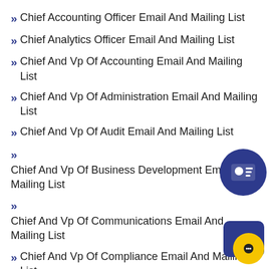Chief Accounting Officer Email And Mailing List
Chief Analytics Officer Email And Mailing List
Chief And Vp Of Accounting Email And Mailing List
Chief And Vp Of Administration Email And Mailing List
Chief And Vp Of Audit Email And Mailing List
Chief And Vp Of Business Development Email And Mailing List
Chief And Vp Of Communications Email And Mailing List
Chief And Vp Of Compliance Email And Mailing List
Chief And Vp Of Design Email And Mailing List
Chief And Vp Of Engineering Email And Mailing List
Chief And Vp Of Facilities Email And Mailing List
Chief And Vp Of Financing Email And Mailing List